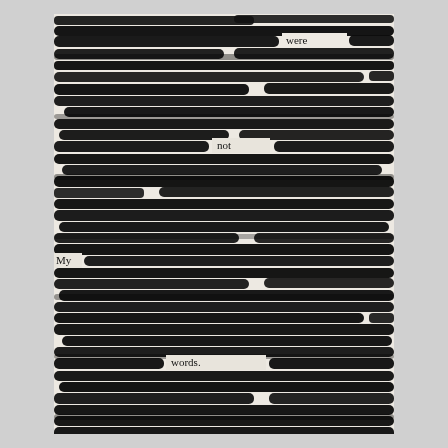[Figure (illustration): A blackout poetry artwork. A printed page is almost entirely covered with thick black marker strokes, leaving only a few visible words: 'were', 'not', 'My', and 'words.' The black brushstrokes are layered, horizontal, and gestural, creating a heavily redacted visual effect against a light page background.]